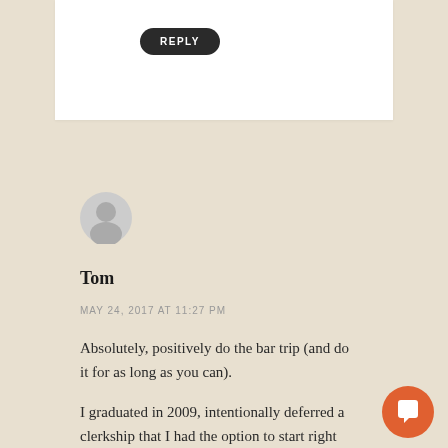REPLY
[Figure (illustration): Generic user avatar circle icon in light gray]
Tom
MAY 24, 2017 AT 11:27 PM
Absolutely, positively do the bar trip (and do it for as long as you can).
I graduated in 2009, intentionally deferred a clerkship that I had the option to start right away, and went to South America for 4
[Figure (illustration): Orange circular chat/message button with white chat icon (Intercom widget)]